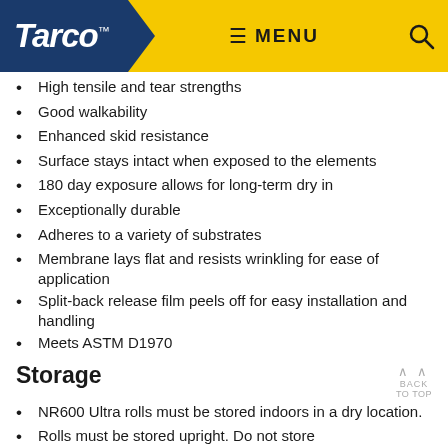Tarco | MENU
High tensile and tear strengths
Good walkability
Enhanced skid resistance
Surface stays intact when exposed to the elements
180 day exposure allows for long-term dry in
Exceptionally durable
Adheres to a variety of substrates
Membrane lays flat and resists wrinkling for ease of application
Split-back release film peels off for easy installation and handling
Meets ASTM D1970
Storage
NR600 Ultra rolls must be stored indoors in a dry location.
Rolls must be stored upright. Do not store...